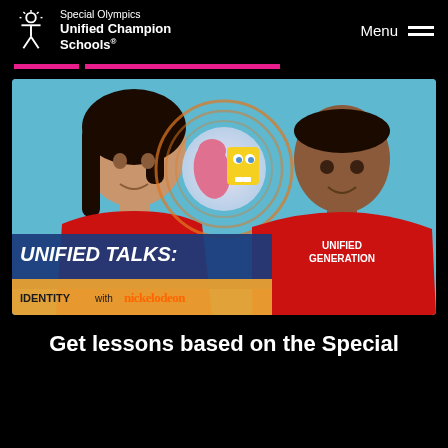Special Olympics Unified Champion Schools® | Menu
[Figure (photo): Two teenagers wearing red t-shirts sit against a blue background. A cartoon image of SpongeBob and Patrick (from Nickelodeon) appears between them in an orange circle. Overlay text reads: UNIFIED TALKS: IDENTITY with nickelodeon. The right teen's shirt reads UNIFIED GENERATION.]
Get lessons based on the Special